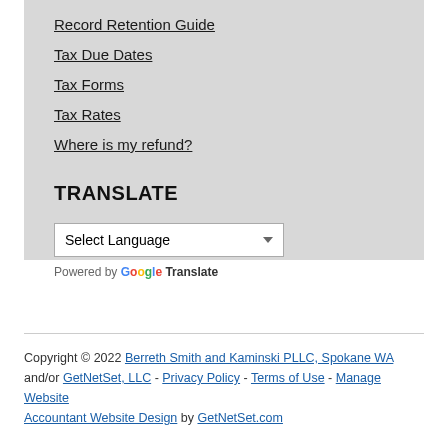Record Retention Guide
Tax Due Dates
Tax Forms
Tax Rates
Where is my refund?
TRANSLATE
Select Language (dropdown) — Powered by Google Translate
Copyright © 2022 Berreth Smith and Kaminski PLLC, Spokane WA and/or GetNetSet, LLC - Privacy Policy - Terms of Use - Manage Website
Accountant Website Design by GetNetSet.com